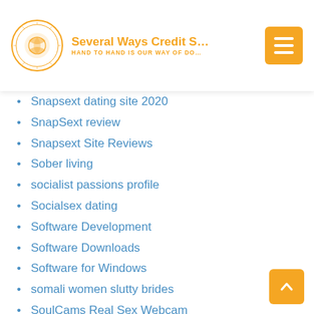Several Ways Credit S... HAND TO HAND IS OUR WAY OF DO...
Snapsext dating site 2020
SnapSext review
Snapsext Site Reviews
Sober living
socialist passions profile
Socialsex dating
Software Development
Software Downloads
Software for Windows
somali women slutty brides
SoulCams Real Sex Webcam
SoulCams Sex Cams
SoulCams Webcam Chat Rooms
Soulmates abbonamento
soulmates review
soulmates reviews
soulsingles mobile site
SoulSingles reviews
South Carolina Bad Credit Loans Near Me